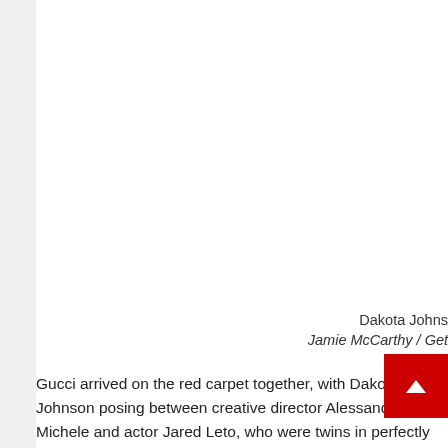[Figure (photo): Large photograph taking up the upper portion of the page, appearing mostly white/blank in this crop]
Dakota Johns
Jamie McCarthy / Get
Gucci arrived on the red carpet together, with Dakota Johnson posing between creative director Alessandro Michele and actor Jared Leto, who were twins in perfectly matching floral embroidered suits in ivory silk.